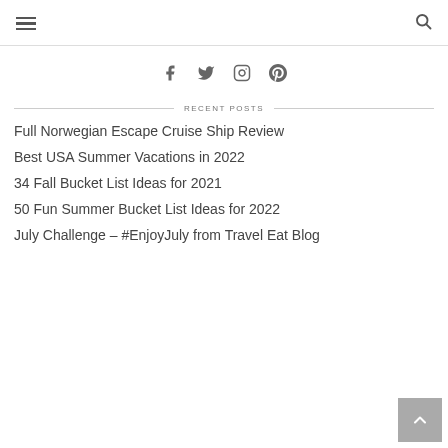hamburger menu | search icon
[Figure (other): Social media icons: Facebook, Twitter, Instagram, Pinterest]
RECENT POSTS
Full Norwegian Escape Cruise Ship Review
Best USA Summer Vacations in 2022
34 Fall Bucket List Ideas for 2021
50 Fun Summer Bucket List Ideas for 2022
July Challenge – #EnjoyJuly from Travel Eat Blog